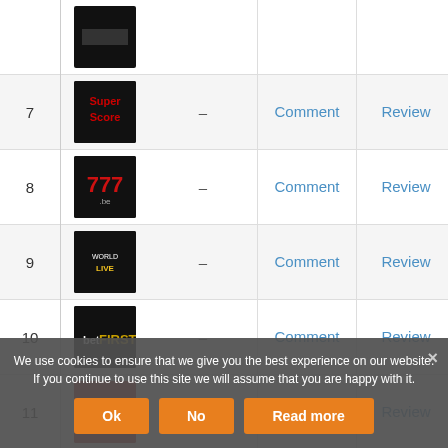| # | Logo | Score | Comment | Review |
| --- | --- | --- | --- | --- |
| 7 | SuperScore | – | Comment | Review |
| 8 | 777.be | – | Comment | Review |
| 9 | WorldLive | – | Comment | Review |
| 10 | betFIRST | – | Comment | Review |
| 11 | Ladbrokes | – | Comment | Review |
| 13 | [logo] | – | Comment | Review |
We use cookies to ensure that we give you the best experience on our website. If you continue to use this site we will assume that you are happy with it.